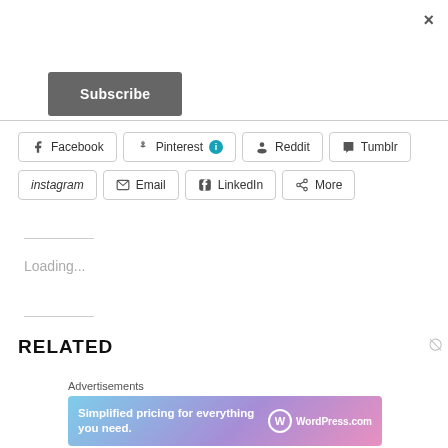×
Subscribe
[Figure (screenshot): Social share buttons row 1: Facebook, Pinterest (with info icon), Reddit, Tumblr]
[Figure (screenshot): Social share buttons row 2: instagram, Email, LinkedIn, More]
Loading...
RELATED
Advertisements
[Figure (screenshot): WordPress.com advertisement banner: Simplified pricing for everything you need.]